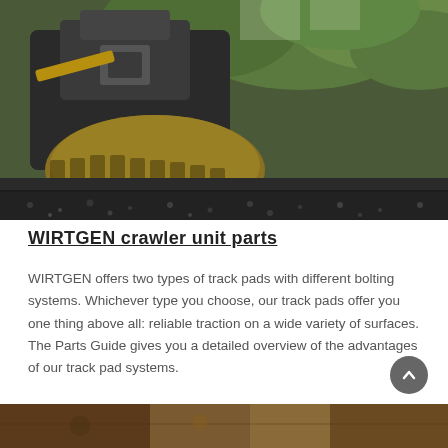[Figure (photo): Close-up ground-level photo of a WIRTGEN asphalt paving crawler unit laying asphalt, with trees in background and fresh dark asphalt surface in foreground.]
WIRTGEN crawler unit parts
WIRTGEN offers two types of track pads with different bolting systems. Whichever type you choose, our track pads offer you one thing above all: reliable traction on a wide variety of surfaces. The Parts Guide gives you a detailed overview of the advantages of our track pad systems.
[Figure (photo): Partial bottom photo, appears to show machinery or parts detail (cropped).]